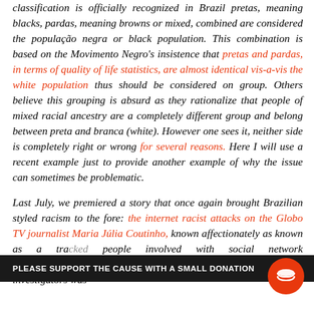classification is officially recognized in Brazil pretas, meaning blacks, pardas, meaning browns or mixed, combined are considered the população negra or black population. This combination is based on the Movimento Negro's insistence that pretas and pardas, in terms of quality of life statistics, are almost identical vis-a-vis the white population thus should be considered on group. Others believe this grouping is absurd as they rationalize that people of mixed racial ancestry are a completely different group and belong between preta and branca (white). However one sees it, neither side is completely right or wrong for several reasons. Here I will use a recent example just to provide another example of why the issue can sometimes be problematic.

Last July, we premiered a story that once again brought Brazilian styled racism to the fore: the internet racist attacks on the Globo TV journalist Maria Júlia Coutinho, known affectionately as [text continues...] tr[...] people involved with social network attacks [...] journalist. One of the men tracked down by investigators was
PLEASE SUPPORT THE CAUSE WITH A SMALL DONATION